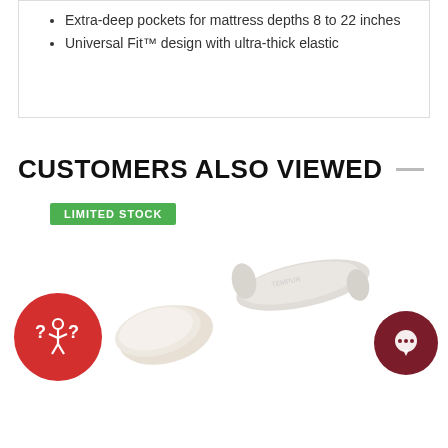Extra-deep pockets for mattress depths 8 to 22 inches
Universal Fit™ design with ultra-thick elastic
CUSTOMERS ALSO VIEWED
LIMITED STOCK
[Figure (photo): Red circle icon with question mark person figure on left; pillow product image on right]
[Figure (photo): Pillow product image on left; dark red chat bubble circle icon on right]